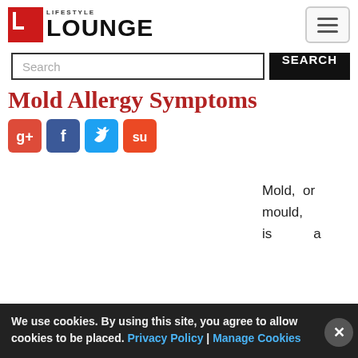LIFESTYLE LOUNGE
Search
Mold Allergy Symptoms
[Figure (other): Social media sharing buttons: Google+, Facebook, Twitter, StumbleUpon]
Mold, or mould, is a
We use cookies. By using this site, you agree to allow cookies to be placed. Privacy Policy | Manage Cookies